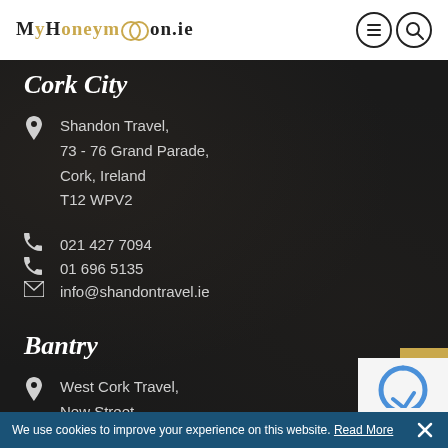MyHoneymoon.ie
Cork City
Shandon Travel,
73 - 76 Grand Parade,
Cork, Ireland
T12 WPV2
021 427 7094
01 696 5135
info@shandontravel.ie
Bantry
West Cork Travel,
New Street,
Bantry,
Co. Cork
We use cookies to improve your experience on this website. Read More